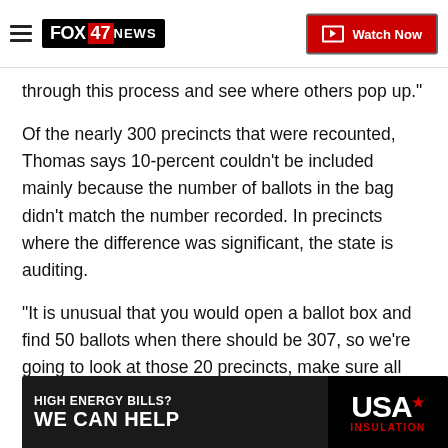FOX 47 NEWS — Watch Now
through this process and see where others pop up."
Of the nearly 300 precincts that were recounted, Thomas says 10-percent couldn't be included mainly because the number of ballots in the bag didn't match the number recorded. In precincts where the difference was significant, the state is auditing.
"It is unusual that you would open a ballot box and find 50 ballots when there should be 307, so we're going to look at those 20 precincts, make sure all those ballots are accounted for and allay those fears," Thom
[Figure (advertisement): USA Insulation advertisement banner: HIGH ENERGY BILLS? WE CAN HELP — USA INSULATION]